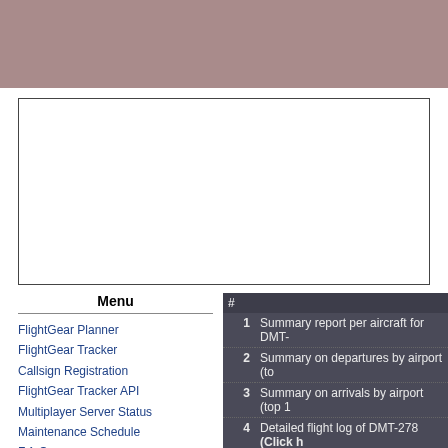[Figure (other): Decorative header banner in muted rose/mauve color]
[Figure (other): Advertisement placeholder box with border, empty white content area]
Menu
FlightGear Planner
FlightGear Tracker
Callsign Registration
FlightGear Tracker API
Multiplayer Server Status
Maintenance Schedule
F.A.Q
Rules and Obligations
| # |  |
| --- | --- |
| 1 | Summary report per aircraft for DMT- |
| 2 | Summary on departures by airport (to |
| 3 | Summary on arrivals by airport (top 1 |
| 4 | Detailed flight log of DMT-278 (Click h |
| 5 | Recent data changes (top 100 by tim |
| 6 | Registration status |
Sum
| Total |
| --- |